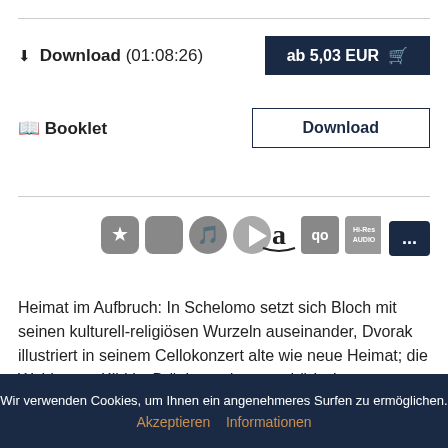Download (01:08:26)   ab 5,03 EUR
Booklet   Download
[Figure (other): Row of streaming service icons: Highresaudio star, Apple, Spotify, Google Play, Amazon, Qobuz, Hi-Res Audio, more (...)]
Heimat im Aufbruch: In Schelomo setzt sich Bloch mit seinen kulturell-religiösen Wurzeln auseinander, Dvorak illustriert in seinem Cellokonzert alte wie neue Heimat; die Waldszene Klid ist Brücke und atmosphärische Reminiszenz gleichermaßen.  »
Marc Coppey
Wir verwenden Cookies, um Ihnen ein angenehmeres Surfen zu ermöglichen.
Akzeptieren Informationen